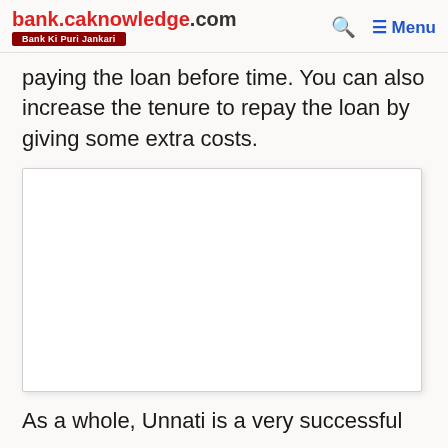bank.caknowledge.com — Bank Ki Puri Jankari
paying the loan before time. You can also increase the tenure to repay the loan by giving some extra costs.
[Figure (other): Advertisement or embedded content placeholder box]
As a whole, Unnati is a very successful